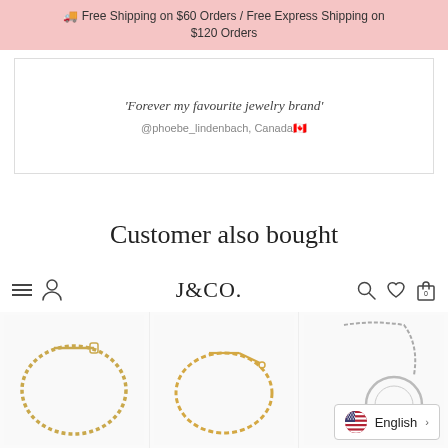🚚 Free Shipping on $60 Orders / Free Express Shipping on $120 Orders
'Forever my favourite jewelry brand'
@phoebe_lindenbach, Canada🇨🇦
Customer also bought
[Figure (logo): J&CO. brand logo in serif font]
[Figure (photo): Gold chain necklace product image]
[Figure (photo): Gold chain necklace second product image]
[Figure (photo): Silver circle pendant necklace product image]
English